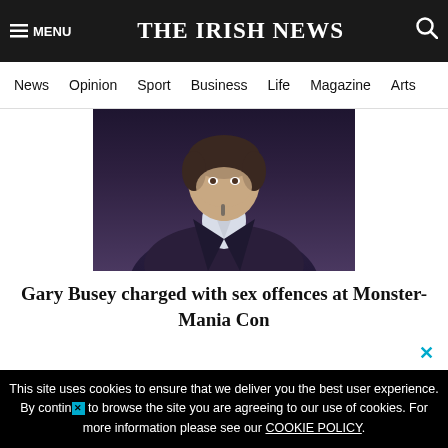THE IRISH NEWS
News | Opinion | Sport | Business | Life | Magazine | Arts
[Figure (photo): Photo of Gary Busey, a man in a dark jacket with white collar visible, photographed from chest up against a dark background.]
Gary Busey charged with sex offences at Monster-Mania Con
This site uses cookies to ensure that we deliver you the best user experience. By continuing to browse the site you are agreeing to our use of cookies. For more information please see our COOKIE POLICY.